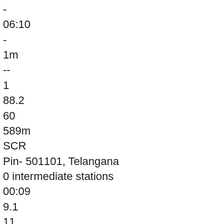-
06:10
-
1m
--
1
88.2
60
589m
SCR
Pin- 501101, Telangana
0 intermediate stations
00:09
9.1
11
/==/
VKB
Vikarabad Jn
06:19
-
06:20
-
1m
--
1